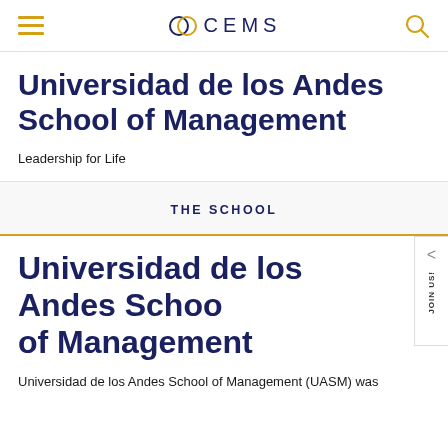CEMS
Universidad de los Andes School of Management
Leadership for Life
THE SCHOOL
Universidad de los Andes School of Management
Universidad de los Andes School of Management (UASM) was